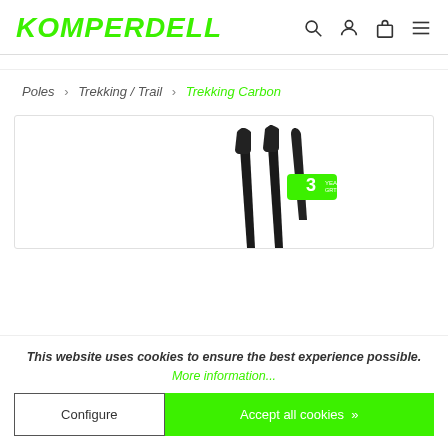KOMPERDELL
Poles › Trekking / Trail › Trekking Carbon
[Figure (photo): Trekking carbon poles product image showing three dark carbon trekking poles with handles and a green badge showing '3']
This website uses cookies to ensure the best experience possible.
More information...
Configure
Accept all cookies »